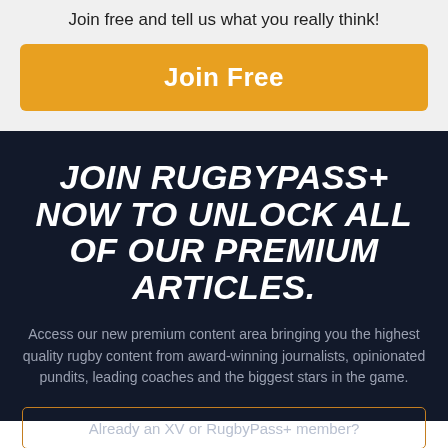Join free and tell us what you really think!
Join Free
JOIN RUGBYPASS+ NOW TO UNLOCK ALL OF OUR PREMIUM ARTICLES.
Access our new premium content area bringing you the highest quality rugby content from award-winning journalists, opinionated pundits, leading coaches and the biggest stars in the game.
Already an XV or RugbyPass+ member?